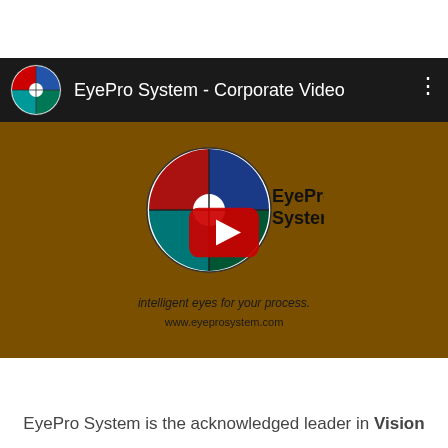[Figure (screenshot): YouTube-style video thumbnail showing EyePro System corporate video. Header bar with EyePro System logo and title 'EyePro System - Corporate Video' on dark background. Main video area has dark brown/orange background with large EyePro System circular logo (quadrant logo in red, blue, teal, green), a red YouTube play button overlay, company name 'EyePro System', tagline 'intelligent eyes for your process.' and website 'www.eyeprosystem.com'.]
EyePro System is the acknowledged leader in Vision